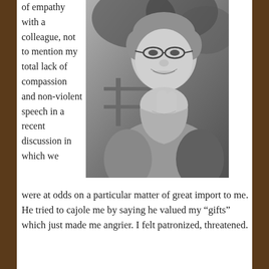of empathy with a colleague, not to mention my total lack of compassion and non-violent speech in a recent discussion in which we
[Figure (photo): Black and white photograph of an elderly woman smiling, resting her chin on her hand, wearing glasses, seated outdoors.]
were at odds on a particular matter of great import to me. He tried to cajole me by saying he valued my “gifts” which just made me angrier. I felt patronized, threatened.